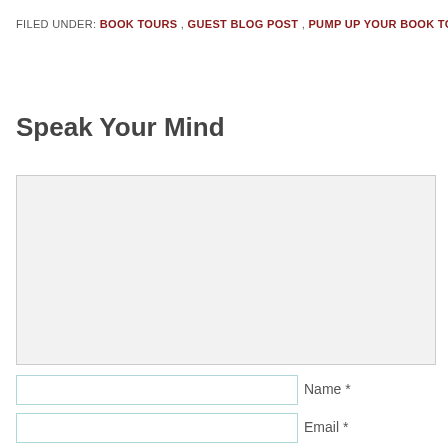FILED UNDER: BOOK TOURS, GUEST BLOG POST, PUMP UP YOUR BOOK TOURS
Speak Your Mind
Name *
Email *
Website